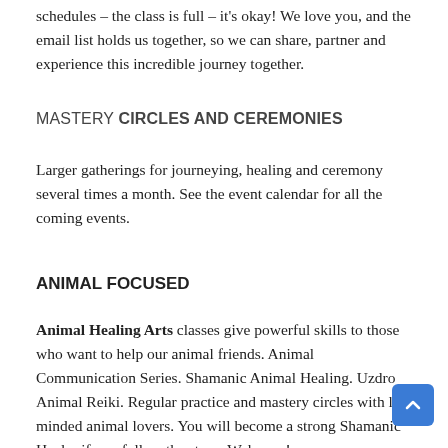schedules – the class is full – it's okay! We love you, and the email list holds us together, so we can share, partner and experience this incredible journey together.
MASTERY CIRCLES AND CEREMONIES
Larger gatherings for journeying, healing and ceremony several times a month. See the event calendar for all the coming events.
ANIMAL FOCUSED
Animal Healing Arts classes give powerful skills to those who want to help our animal friends. Animal Communication Series. Shamanic Animal Healing. Uzdro Animal Reiki. Regular practice and mastery circles with like minded animal lovers. You will become a strong Shamanic Healer if you follow the steps. Welcome!